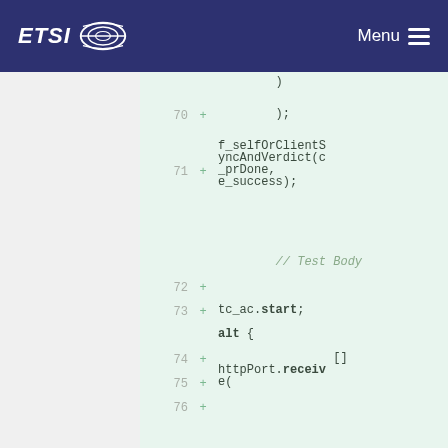ETSI Menu
Code diff view showing lines 70-77 with TTCN-3 code including f_selfOrClientSyncAndVerdict, tc_ac.start, alt, httpPort.receive